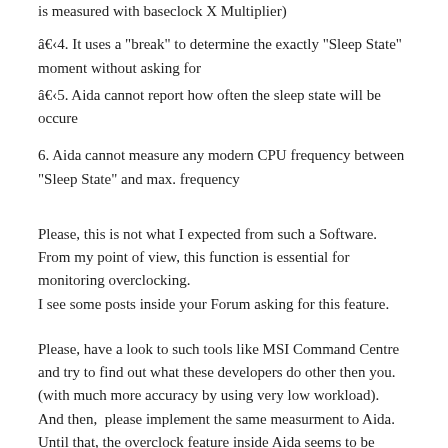is measured with baseclock X Multiplier)
â€‹4. It uses a "break" to determine the exactly "Sleep State" moment without asking for
â€‹5. Aida cannot report how often the sleep state will be occure
6. Aida cannot measure any modern CPU frequency between "Sleep State" and max. frequency
Please, this is not what I expected from such a Software.
From my point of view, this function is essential for monitoring overclocking.
I see some posts inside your Forum asking for this feature.
Please, have a look to such tools like MSI Command Centre and try to find out what these developers do other then you. (with much more accuracy by using very low workload).
And then,  please implement the same measurment to Aida.
Until that, the overclock feature inside Aida seems to be complete useless.
And, again, rename CPU Clock in this context to â€œCPU Sleep Stateâ€. What seems to be the right name for.
In my environment the CPU Clock inside Aida shows me only how often the